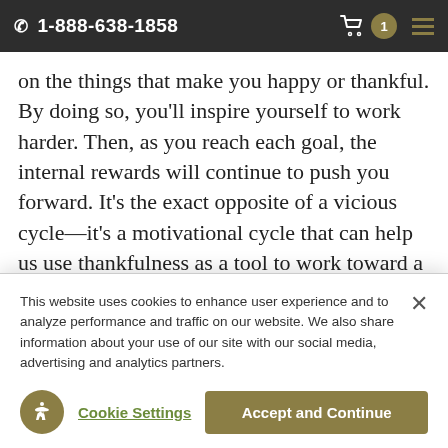1-888-638-1858
on the things that make you happy or thankful. By doing so, you'll inspire yourself to work harder. Then, as you reach each goal, the internal rewards will continue to push you forward. It's the exact opposite of a vicious cycle—it's a motivational cycle that can help us use thankfulness as a tool to work toward a more comfortable retirement.
November is traditionally a time of year when we
This website uses cookies to enhance user experience and to analyze performance and traffic on our website. We also share information about your use of our site with our social media, advertising and analytics partners.
Cookie Settings
Accept and Continue